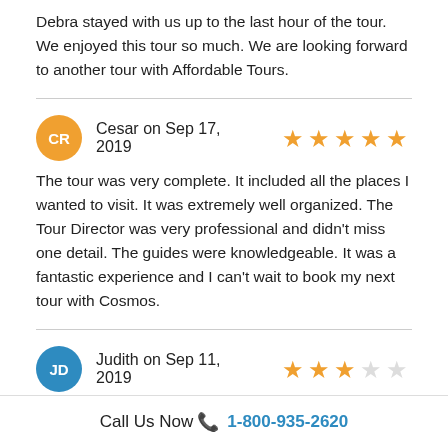Debra stayed with us up to the last hour of the tour. We enjoyed this tour so much. We are looking forward to another tour with Affordable Tours.
Cesar on Sep 17, 2019  ★★★★★
The tour was very complete. It included all the places I wanted to visit. It was extremely well organized. The Tour Director was very professional and didn't miss one detail. The guides were knowledgeable. It was a fantastic experience and I can't wait to book my next tour with Cosmos.
Judith on Sep 11, 2019  ★★★☆☆
Our guide was very professional and our bus driver outstanding. Our driver was courteous, always polite and very helpful getting on and off the bus.
Call Us Now 📞 1-800-935-2620